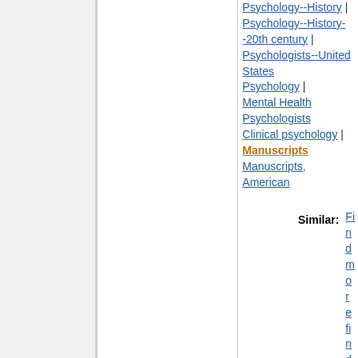Psychology-- History | Psychology-- History--20th century | Psychologists-- United States Psychology | Mental Health Psychologists Clinical psychology | Manuscripts Manuscripts, American
Similar: Find more finds like this
4 Institution: Drs. Nicholas and Dorothy Cummings Center for the History of Psychology